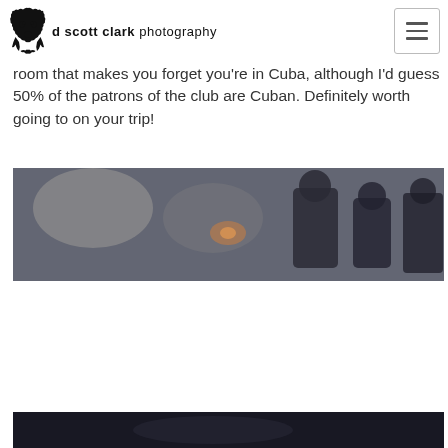d scott clark photography
room that makes you forget you're in Cuba, although I'd guess 50% of the patrons of the club are Cuban. Definitely worth going to on your trip!
[Figure (photo): Dark indoor photo showing people in what appears to be a club or venue, dimly lit with figures visible.]
[Figure (photo): Dark photo, partially visible at bottom of page, appears to be another interior club/venue shot.]